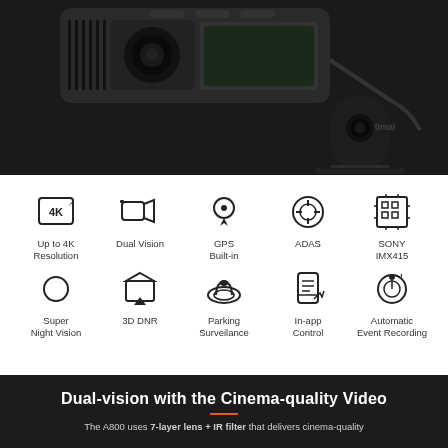[Figure (photo): Product photo of 70mai A800 dash camera and rear camera module on dark background]
[Figure (infographic): Feature icons grid: Up to 4K Resolution, Dual Vision, GPS Built-in, ADAS, SONY IMX415, Super Night Vision, 3D DNR, Parking Surveilance, In-app Control, Automatic Event Recording]
Dual-vision with the Cinema-quality Video
The A800 uses 7-layer lens + IR filter that delivers cinema-quality